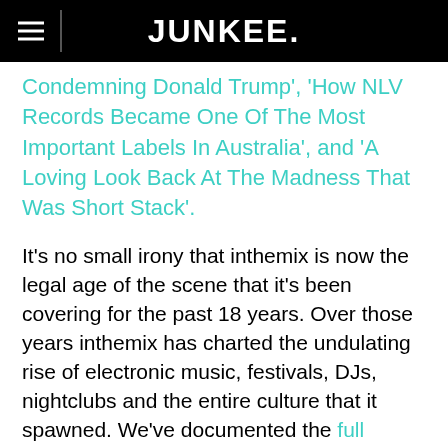JUNKEE.
Condemning Donald Trump', 'How NLV Records Became One Of The Most Important Labels In Australia', and 'A Loving Look Back At The Madness That Was Short Stack'.
It's no small irony that inthemix is now the legal age of the scene that it's been covering for the past 18 years. Over those years inthemix has charted the undulating rise of electronic music, festivals, DJs, nightclubs and the entire culture that it spawned. We've documented the full history of inthemix in a long-form oral feature that celebrates the people, posts, and pride of place that it has in Australia's music scene. Please take the time to remember all the good times here.